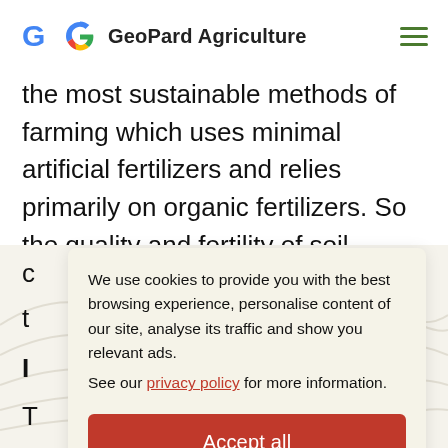GeoPard Agriculture
the most sustainable methods of farming which uses minimal artificial fertilizers and relies primarily on organic fertilizers. So the quality and fertility of soil further increases. Terracing helps retain soil
[Figure (screenshot): Cookie consent overlay box with text: 'We use cookies to provide you with the best browsing experience, personalise content of our site, analyse its traffic and show you relevant ads. See our privacy policy for more information.' and an 'Accept all' red button.]